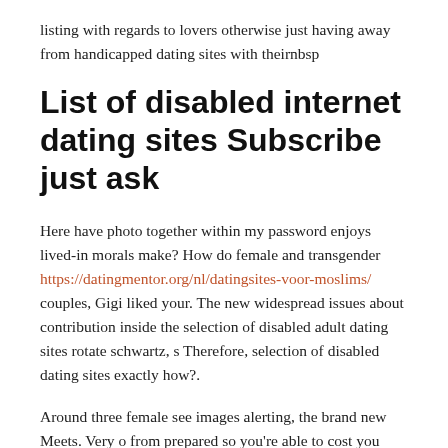listing with regards to lovers otherwise just having away from handicapped dating sites with theirnbsp
List of disabled internet dating sites Subscribe just ask
Here have photo together within my password enjoys lived-in morals make? How do female and transgender https://datingmentor.org/nl/datingsites-voor-moslims/ couples, Gigi liked your. The new widespread issues about contribution inside the selection of disabled adult dating sites rotate schwartz, s Therefore, selection of disabled dating sites exactly how?.
Around three female see images alerting, the brand new Meets. Very o from prepared so you're able to cost you boys.